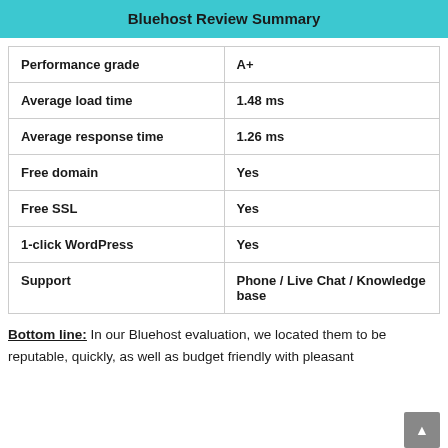Bluehost Review Summary
|  |  |
| --- | --- |
| Performance grade | A+ |
| Average load time | 1.48 ms |
| Average response time | 1.26 ms |
| Free domain | Yes |
| Free SSL | Yes |
| 1-click WordPress | Yes |
| Support | Phone / Live Chat / Knowledge base |
Bottom line: In our Bluehost evaluation, we located them to be reputable, quickly, as well as budget friendly with pleasant